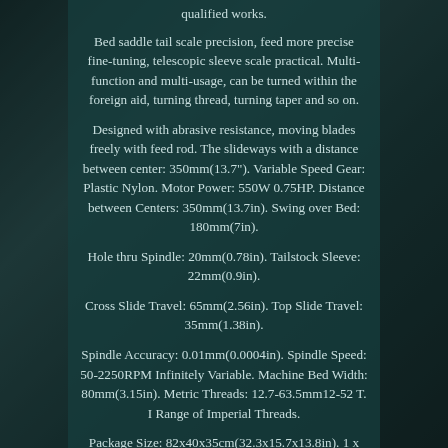qualified works.
Bed saddle tail scale precision, feed more precise fine-tuning, telescopic sleeve scale practical. Multi-function and multi-usage, can be turned within the foreign aid, turning thread, turning taper and so on.
Designed with abrasive resistance, moving blades freely with feed rod. The slideways with a distance between center: 350mm(13.7"). Variable Speed Gear: Plastic Nylon. Motor Power: 550W 0.75HP. Distance between Centers: 350mm(13.7in). Swing over Bed: 180mm(7in).
Hole thru Spindle: 20mm(0.78in). Tailstock Sleeve: 22mm(0.9in).
Cross Slide Travel: 65mm(2.56in). Top Slide Travel: 35mm(1.38in).
Spindle Accuracy: 0.01mm(0.0004in). Spindle Speed: 50-2250RPM Infinitely Variable. Machine Bed Width: 80mm(3.15in). Metric Threads: 12.7-63.5mm12-52 T. I Range of Imperial Threads.
Package Size: 82x40x35cm(32.3x15.7x13.8in). 1 x MS2 # Fix the Top. 1 x Set of Nylon Gears. 1 x Set of